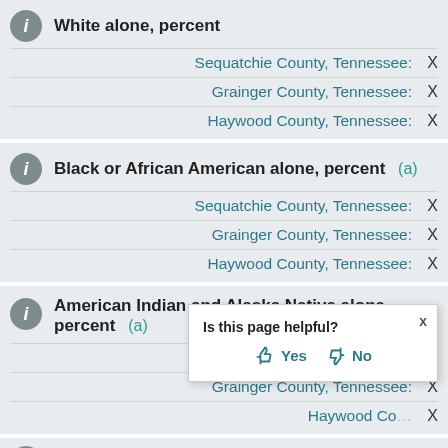White alone, percent
| Location | Value |
| --- | --- |
| Sequatchie County, Tennessee: | X |
| Grainger County, Tennessee: | X |
| Haywood County, Tennessee: | X |
Black or African American alone, percent (a)
| Location | Value |
| --- | --- |
| Sequatchie County, Tennessee: | X |
| Grainger County, Tennessee: | X |
| Haywood County, Tennessee: | X |
American Indian and Alaska Native alone, percent (a)
| Location | Value |
| --- | --- |
| Sequatchie County, Tennessee: | X |
| Grainger County, Tennessee: | X |
| Haywood County, Tennessee: | X |
Asian alone, percent (a)
Is this page helpful? Yes No